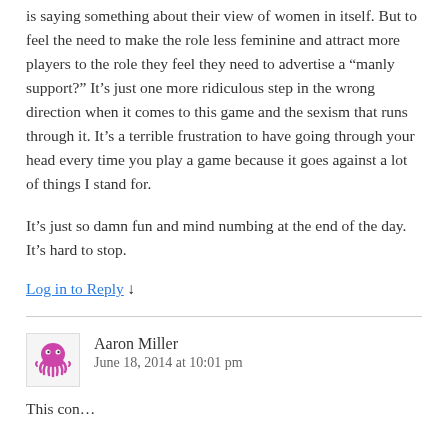is saying something about their view of women in itself. But to feel the need to make the role less feminine and attract more players to the role they feel they need to advertise a “manly support?” It’s just one more ridiculous step in the wrong direction when it comes to this game and the sexism that runs through it. It’s a terrible frustration to have going through your head every time you play a game because it goes against a lot of things I stand for.
It’s just so damn fun and mind numbing at the end of the day. It’s hard to stop.
Log in to Reply ↓
Aaron Miller
June 18, 2014 at 10:01 pm
This content has been removed as a part of lorem...